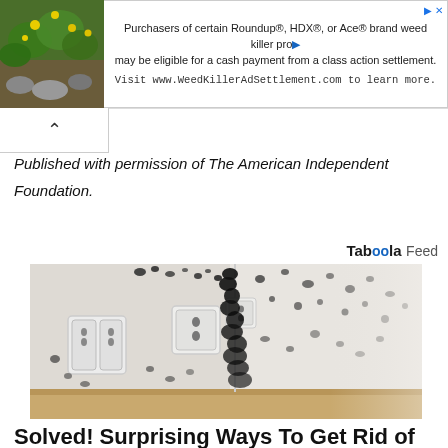[Figure (other): Advertisement banner: greenery/plant photo on left, text on right about Roundup/HDX/Ace weed killer class action settlement. Visit www.WeedKillerAdSettlement.com]
Published with permission of The American Independent Foundation.
Taboola Feed
[Figure (photo): Photo of a room corner with black mold growing extensively on white walls, with electrical outlets/sockets visible on the wall.]
Solved! Surprising Ways To Get Rid of